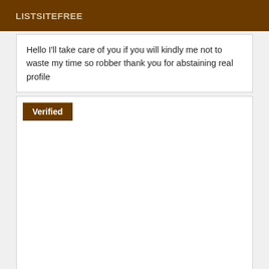LISTSITEFREE
Hello I'll take care of you if you will kindly me not to waste my time so robber thank you for abstaining real profile
Verified